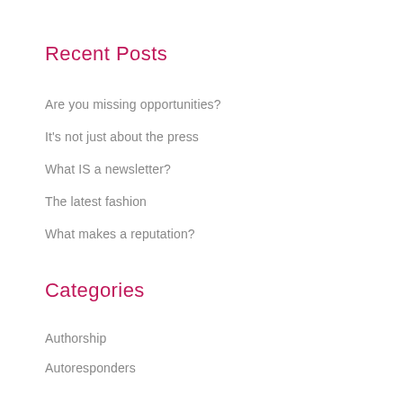Recent Posts
Are you missing opportunities?
It's not just about the press
What IS a newsletter?
The latest fashion
What makes a reputation?
Categories
Authorship
Autoresponders
Awards
Blogging
Business
Crowd funding